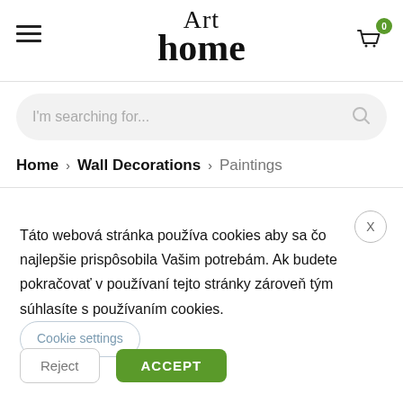[Figure (logo): Art home logo with hamburger menu and shopping cart with badge showing 0]
[Figure (screenshot): Search bar with placeholder text 'I'm searching for...' and magnifying glass icon]
Home > Wall Decorations > Paintings
Táto webová stránka používa cookies aby sa čo najlepšie prispôsobila Vašim potrebám. Ak budete pokračovať v používaní tejto stránky zároveň tým súhlasíte s používaním cookies.
Cookie settings
Reject
ACCEPT